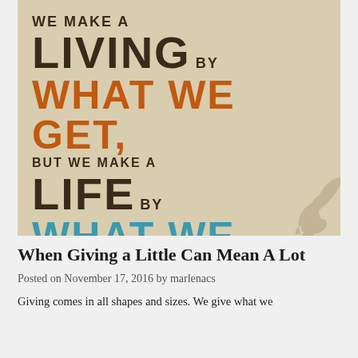[Figure (illustration): Motivational quote image on a tan/parchment textured background. Text reads: 'WE MAKE A LIVING BY WHAT WE GET, BUT WE MAKE A LIFE BY WHAT WE GIVE. ~WINSTON CHURCHILL'. 'WHAT WE GET' is in orange, 'WHAT WE GIVE' is in teal/blue, other text in dark brown/black. Decorative swirl in bottom-right corner.]
When Giving a Little Can Mean A Lot
Posted on November 17, 2016 by marlenacs
Giving comes in all shapes and sizes. We give what we